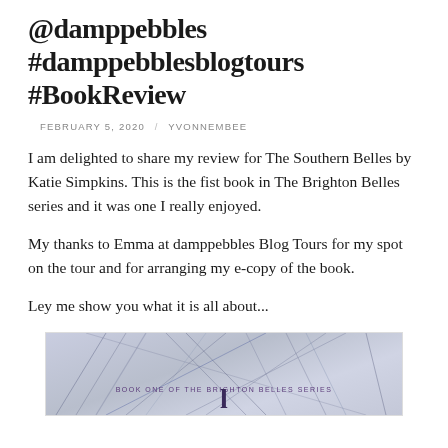@damppebbles #damppebblesblogtours #BookReview
FEBRUARY 5, 2020 / YVONNEMBEE
I am delighted to share my review for The Southern Belles by Katie Simpkins. This is the fist book in The Brighton Belles series and it was one I really enjoyed.
My thanks to Emma at damppebbles Blog Tours for my spot on the tour and for arranging my e-copy of the book.
Ley me show you what it is all about...
[Figure (photo): Book cover image for The Southern Belles, showing abstract line art on a purple/blue background with text 'BOOK ONE OF THE BRIGHTON BELLES SERIES']